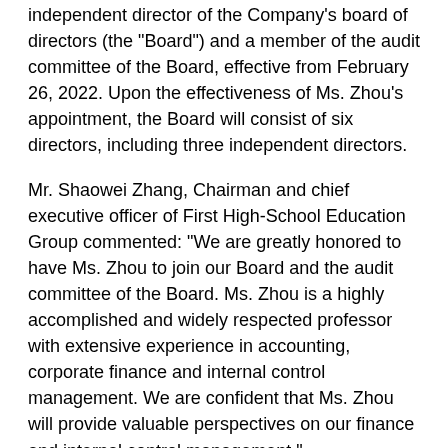independent director of the Company's board of directors (the "Board") and a member of the audit committee of the Board, effective from February 26, 2022. Upon the effectiveness of Ms. Zhou's appointment, the Board will consist of six directors, including three independent directors.
Mr. Shaowei Zhang, Chairman and chief executive officer of First High-School Education Group commented: "We are greatly honored to have Ms. Zhou to join our Board and the audit committee of the Board. Ms. Zhou is a highly accomplished and widely respected professor with extensive experience in accounting, corporate finance and internal control management. We are confident that Ms. Zhou will provide valuable perspectives on our finance and internal control management."
Ms. Zhou is a professor and researcher at the School of Economics and Management, Beihang University. Ms. Zhou previously served as the director of Beihang Master of Business Administration (MBA) Education Center and deputy dean at the School of Economics and Management, Beihang University. From 1994 to 2001, Ms. Zhou served at multiple positions, including the department manager, general manager, branch general manager and board secretary, at Aviation Industry Corporation of China. Ms. Zhou has rich experience and comprehensive academic